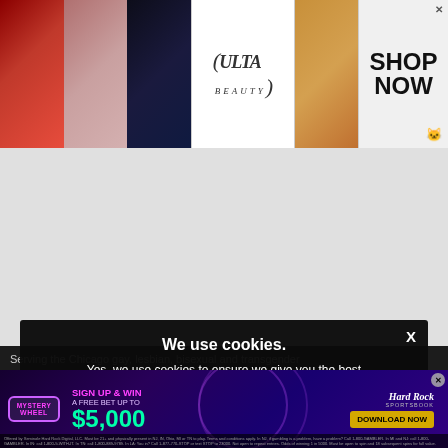[Figure (infographic): Ulta Beauty banner advertisement showing makeup/beauty photos (lips, brush, eye makeup), Ulta Beauty logo, and SHOP NOW call to action]
Serving the Chicago gay, lesbian, bisexual and transgender communities. ©Copyright 2022 GoPride Networks. All rights
GoPride.com™ Know Chicago. Chicago Everyday. Gay
We use cookies.
Yes, we use cookies to ensure we give you the best experience using this website.
By closing this box or clicking on the continue button, you agree to our terms of use and consent to the use of
[Figure (infographic): Hard Rock Sportsbook advertisement: Mystery Wheel - Sign Up & Win A Free Bet Up To $5,000. Download Now button.]